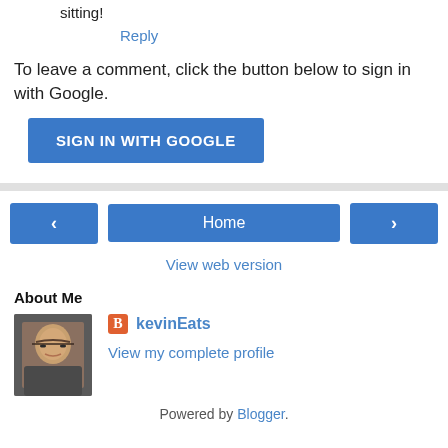sitting!
Reply
To leave a comment, click the button below to sign in with Google.
SIGN IN WITH GOOGLE
Home
View web version
About Me
[Figure (photo): Profile photo of a young Asian man with glasses, smiling]
kevinEats
View my complete profile
Powered by Blogger.